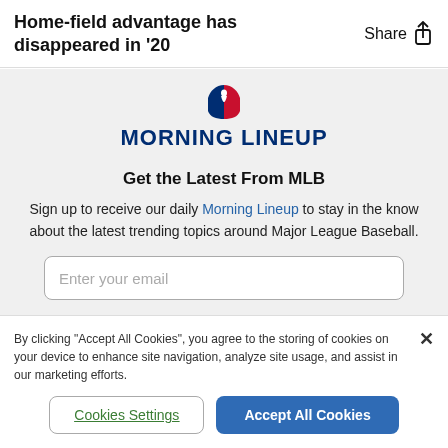Home-field advantage has disappeared in '20
[Figure (logo): MLB Morning Lineup logo with the MLB batter silhouette icon and text 'MORNING LINEUP']
Get the Latest From MLB
Sign up to receive our daily Morning Lineup to stay in the know about the latest trending topics around Major League Baseball.
Enter your email
By clicking "Accept All Cookies", you agree to the storing of cookies on your device to enhance site navigation, analyze site usage, and assist in our marketing efforts.
Cookies Settings
Accept All Cookies